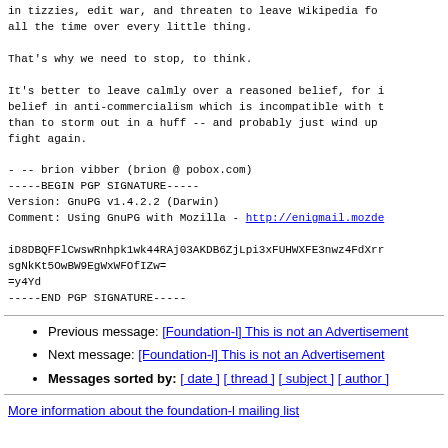in tizzies, edit war, and threaten to leave Wikipedia for all the time over every little thing.
That's why we need to stop, to think.
It's better to leave calmly over a reasoned belief, for instance a belief in anti-commercialism which is incompatible with the direction, than to storm out in a huff -- and probably just wind up in the same fight again.
- -- brion vibber (brion @ pobox.com)
-----BEGIN PGP SIGNATURE-----
Version: GnuPG v1.4.2.2 (Darwin)
Comment: Using GnuPG with Mozilla - http://enigmail.mozde

iD8DBQFFlCwswRnhpk1wk44RAj03AKDB6ZjLpi3xFUHWXFE3nwz4FdXr
sgNkKt5OwBW9EgWxWFOfIZw=
=y4Yd
-----END PGP SIGNATURE-----
Previous message: [Foundation-l] This is not an Advertisement
Next message: [Foundation-l] This is not an Advertisement
Messages sorted by: [ date ] [ thread ] [ subject ] [ author ]
More information about the foundation-l mailing list